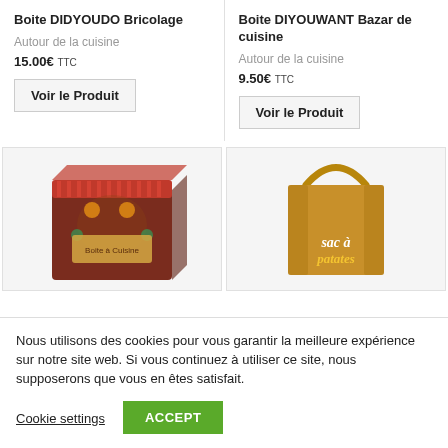Boite DIDYOUDO Bricolage
Autour de la cuisine
15.00€ TTC
Voir le Produit
Boite DIYOUWANT Bazar de cuisine
Autour de la cuisine
9.50€ TTC
Voir le Produit
[Figure (photo): Decorative tin box with floral and character illustrations, brown and pink tones, labeled Boite a Cuisine]
[Figure (photo): Brown paper/kraft bag with handle and cursive text 'sac à patates']
Nous utilisons des cookies pour vous garantir la meilleure expérience sur notre site web. Si vous continuez à utiliser ce site, nous supposerons que vous en êtes satisfait.
Cookie settings
ACCEPT